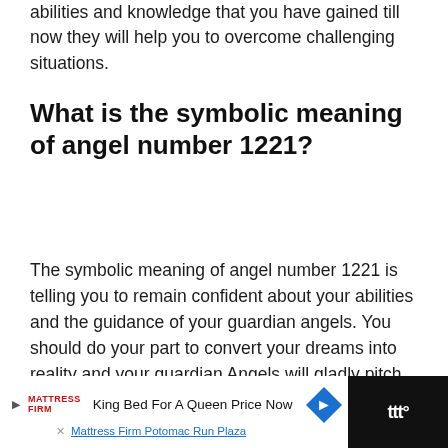abilities and knowledge that you have gained till now they will help you to overcome challenging situations.
What is the symbolic meaning of angel number 1221?
The symbolic meaning of angel number 1221 is telling you to remain confident about your abilities and the guidance of your guardian angels. You should do your part to convert your dreams into reality and your guardian Angels will gladly pitch in.
[Figure (other): Advertisement banner for Mattress Firm Potomac Run Plaza: King Bed For A Queen Price Now]